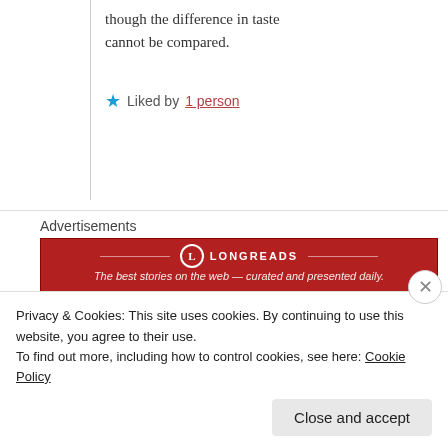though the difference in taste cannot be compared.
★ Liked by 1 person
Advertisements
[Figure (other): Longreads advertisement banner in dark red with logo and tagline]
CRYSTAL BYERS  January 1, 2019 at 8:48 AM  LOG IN TO REPLY
Privacy & Cookies: This site uses cookies. By continuing to use this website, you agree to their use.
To find out more, including how to control cookies, see here: Cookie Policy
Close and accept